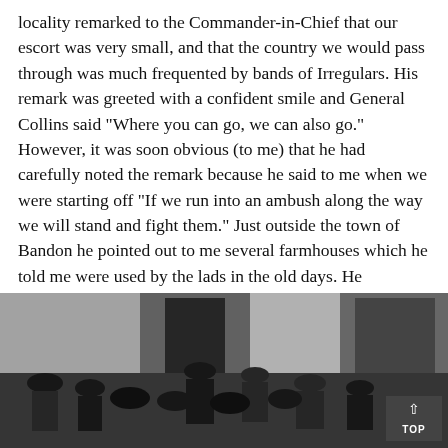locality remarked to the Commander-in-Chief that our escort was very small, and that the country we would pass through was much frequented by bands of Irregulars. His remark was greeted with a confident smile and General Collins said “Where you can go, we can also go.” However, it was soon obvious (to me) that he had carefully noted the remark because he said to me when we were starting off “If we run into an ambush along the way we will stand and fight them.” Just outside the town of Bandon he pointed out to me several farmhouses which he told me were used by the lads in the old days. He mentioned to me the home of one particular friend of his own, remarking “It is too bad he is on the other side now because he is a damned good soldier.” Then he said “Don’t suppose I will be ambushed in my own County.”
[Figure (photo): Black and white historical photograph showing a group of people, some in military uniform, gathered outside a building with a doorway visible in the background.]